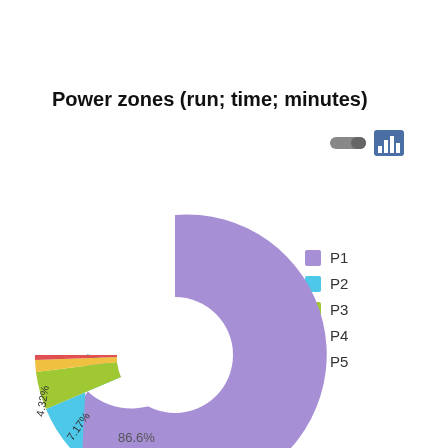Power zones (run; time; minutes)
[Figure (donut-chart): Power zones (run; time; minutes)]